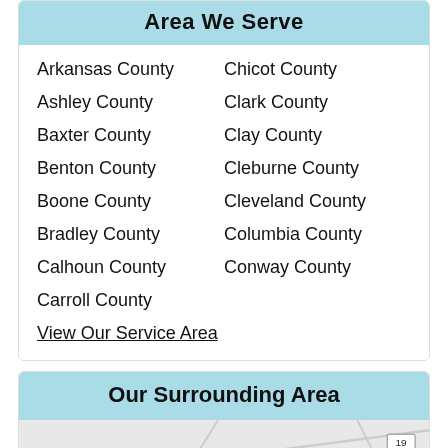Area We Serve
Arkansas County
Chicot County
Ashley County
Clark County
Baxter County
Clay County
Benton County
Cleburne County
Boone County
Cleveland County
Bradley County
Columbia County
Calhoun County
Conway County
Carroll County
View Our Service Area
Our Surrounding Area
[Figure (map): A road map showing the surrounding service area with route markers 280 and 19 visible on gray roads.]